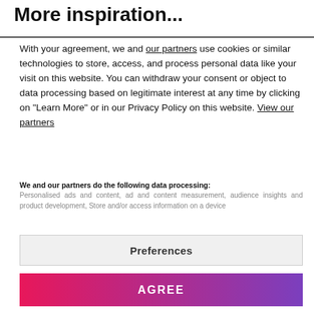More inspiration...
With your agreement, we and our partners use cookies or similar technologies to store, access, and process personal data like your visit on this website. You can withdraw your consent or object to data processing based on legitimate interest at any time by clicking on "Learn More" or in our Privacy Policy on this website. View our partners
We and our partners do the following data processing: Personalised ads and content, ad and content measurement, audience insights and product development, Store and/or access information on a device
Preferences
AGREE